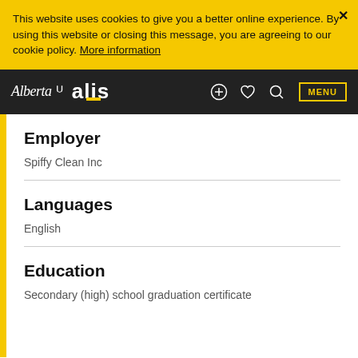This website uses cookies to give you a better online experience. By using this website or closing this message, you are agreeing to our cookie policy. More information
Alberta alis — MENU
Employer
Spiffy Clean Inc
Languages
English
Education
Secondary (high) school graduation certificate